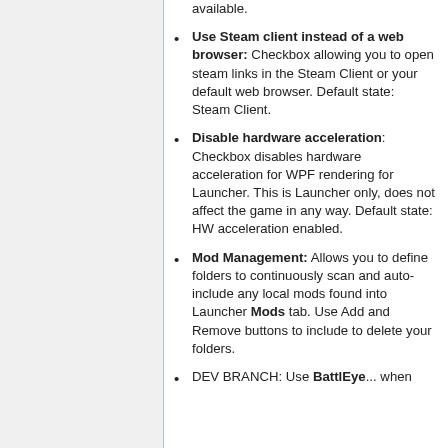available.
Use Steam client instead of a web browser: Checkbox allowing you to open steam links in the Steam Client or your default web browser. Default state: Steam Client.
Disable hardware acceleration: Checkbox disables hardware acceleration for WPF rendering for Launcher. This is Launcher only, does not affect the game in any way. Default state: HW acceleration enabled.
Mod Management: Allows you to define folders to continuously scan and auto-include any local mods found into Launcher Mods tab. Use Add and Remove buttons to include to delete your folders.
DEV BRANCH: Use BattlEye... when